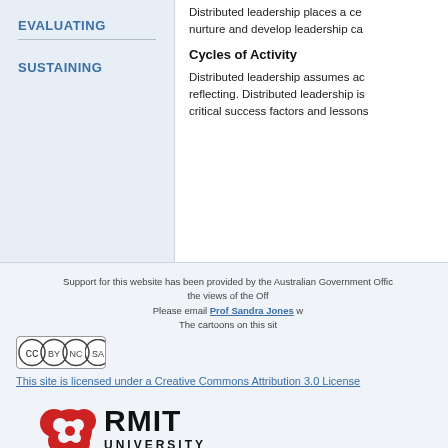EVALUATING
SUSTAINING
Distributed leadership places a ce nurture and develop leadership ca
Cycles of Activity
Distributed leadership assumes act reflecting. Distributed leadership is critical success factors and lessons
Support for this website has been provided by the Australian Government Offic the views of the Off Please email Prof Sandra Jones w The cartoons on this sit
This site is licensed under a Creative Commons Attribution 3.0 License
[Figure (logo): RMIT University logo with red maple-leaf-like symbol and RMIT UNIVERSITY text]